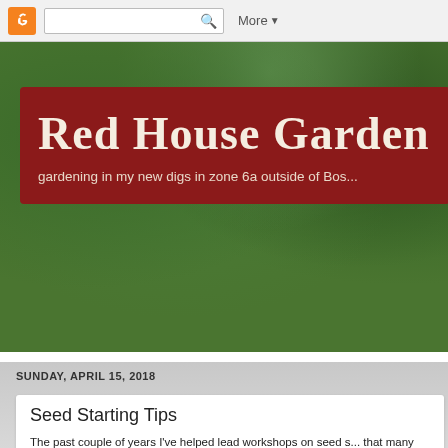Blogger navigation bar with search and More dropdown
[Figure (photo): Green garden foliage background photo behind the blog header banner]
Red House Garden
gardening in my new digs in zone 6a outside of Bos...
SUNDAY, APRIL 15, 2018
Seed Starting Tips
The past couple of years I've helped lead workshops on seed s... that many people are hesitant to start seeds indoors.  Even a M... know confessed that there is something about seed starting tha...  On the opposite side of the spectrum, my kids wonder why I w... to lead a workshop on seed starting.  According to them, you st... some dirt and voila!  Sadly, it's not quite so simple as that, but I...